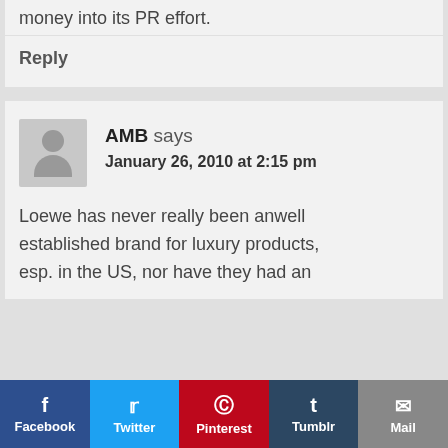money into its PR effort.
Reply
AMB says
January 26, 2010 at 2:15 pm
Loewe has never really been anwell established brand for luxury products, esp. in the US, nor have they had an
Facebook  Twitter  Pinterest  Tumblr  Mail